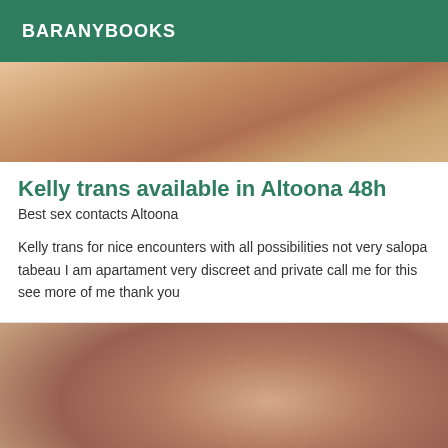BARANYBOOKS
[Figure (photo): Partial body photo, cropped top portion]
Kelly trans available in Altoona 48h
Best sex contacts Altoona
Kelly trans for nice encounters with all possibilities not very salopa tabeau I am apartament very discreet and private call me for this see more of me thank you
[Figure (photo): Close-up body photo, lower portion of page]